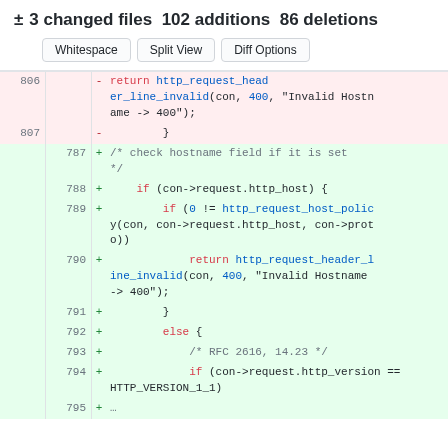± 3 changed files 102 additions 86 deletions
[Figure (screenshot): Code diff view showing buttons: Whitespace, Split View, Diff Options]
806 - return http_request_header_line_invalid(con, 400, "Invalid Hostname -> 400");
807 - }
787 + /* check hostname field if it is set */
788 + if (con->request.http_host) {
789 + if (0 != http_request_host_policy(con, con->request.http_host, con->proto))
790 + return http_request_header_line_invalid(con, 400, "Invalid Hostname -> 400");
791 + }
792 + else {
793 + /* RFC 2616, 14.23 */
794 + if (con->request.http_version == HTTP_VERSION_1_1)